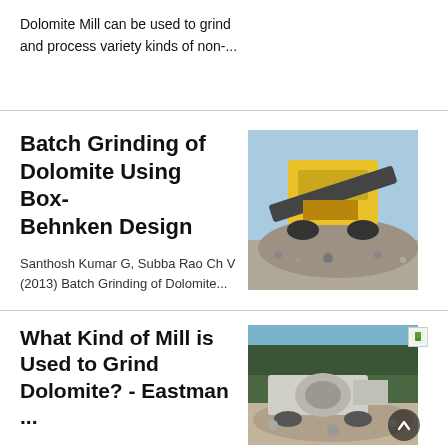Dolomite Mill can be used to grind and process variety kinds of non-...
Batch Grinding of Dolomite Using Box-Behnken Design
Santhosh Kumar G, Subba Rao Ch V (2013) Batch Grinding of Dolomite...
[Figure (photo): Yellow industrial crushing/grinding machine with conveyor belt, surrounded by gravel/rock piles, outdoors under sky]
What Kind of Mill is Used to Grind Dolomite? - Eastman ...
[Figure (photo): Industrial milling machine on gravel/rock surface outdoors, with trees in background]